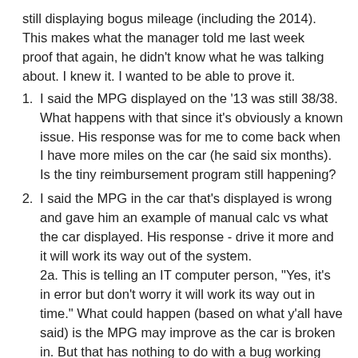still displaying bogus mileage (including the 2014). This makes what the manager told me last week proof that again, he didn't know what he was talking about. I knew it. I wanted to be able to prove it.
I said the MPG displayed on the '13 was still 38/38. What happens with that since it's obviously a known issue. His response was for me to come back when I have more miles on the car (he said six months). Is the tiny reimbursement program still happening?
I said the MPG in the car that's displayed is wrong and gave him an example of manual calc vs what the car displayed. His response - drive it more and it will work its way out of the system. 2a. This is telling an IT computer person, "Yes, it's in error but don't worry it will work its way out in time." What could happen (based on what y'all have said) is the MPG may improve as the car is broken in. But that has nothing to do with a bug working